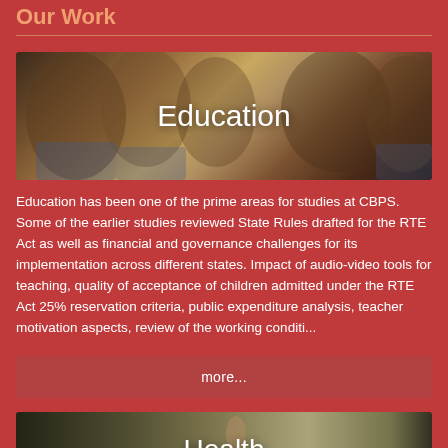Our Work
[Figure (photo): Group of smiling Indian school children with text overlay 'Education']
Education has been one of the prime areas for studies at CBPS. Some of the earlier studies reviewed State Rules drafted for the RTE Act as well as financial and governance challenges for its implementation across different states. Impact of audio-video tools for teaching, quality of acceptance of children admitted under the RTE Act 25% reservation criteria, public expenditure analysis, teacher motivation aspects, review of the working conditi...
more...
[Figure (photo): Photo of people in a room/meeting setting with text overlay 'Health']